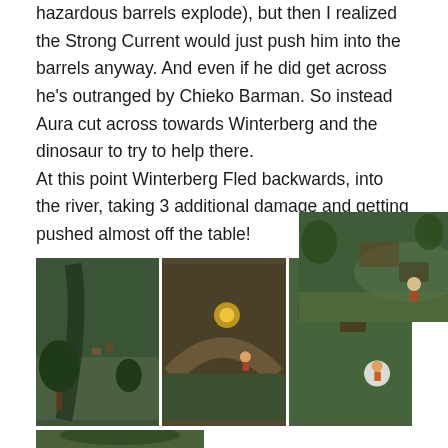hazardous barrels explode), but then I realized the Strong Current would just push him into the barrels anyway. And even if he did get across he's outranged by Chieko Barman. So instead Aura cut across towards Winterberg and the dinosaur to try to help there. At this point Winterberg Fled backwards, into the river, taking 3 additional damage and getting pushed almost off the table!
[Figure (photo): Top-right game board photo showing river and terrain miniatures]
[Figure (photo): Three side-by-side photos of tabletop miniature game board with river, bridge, and character miniatures]
[Figure (photo): Bottom-left photo showing dinosaur miniature and character figures on green game board]